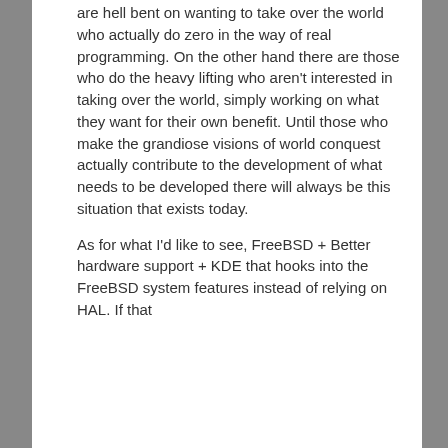are hell bent on wanting to take over the world who actually do zero in the way of real programming. On the other hand there are those who do the heavy lifting who aren't interested in taking over the world, simply working on what they want for their own benefit. Until those who make the grandiose visions of world conquest actually contribute to the development of what needs to be developed there will always be this situation that exists today.
As for what I'd like to see, FreeBSD + Better hardware support + KDE that hooks into the FreeBSD system features instead of relying on HAL. If that